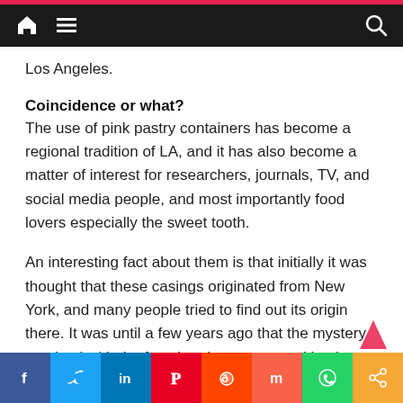Navigation bar with home, menu, and search icons
Los Angeles.
Coincidence or what?
The use of pink pastry containers has become a regional tradition of LA, and it has also become a matter of interest for researchers, journals, TV, and social media people, and most importantly food lovers especially the sweet tooth.
An interesting fact about them is that initially it was thought that these casings originated from New York, and many people tried to find out its origin there. It was until a few years ago that the mystery resolved with the fact that they were used by the Cambodian
Social share bar: Facebook, Twitter, LinkedIn, Pinterest, Reddit, Mix, WhatsApp, Share